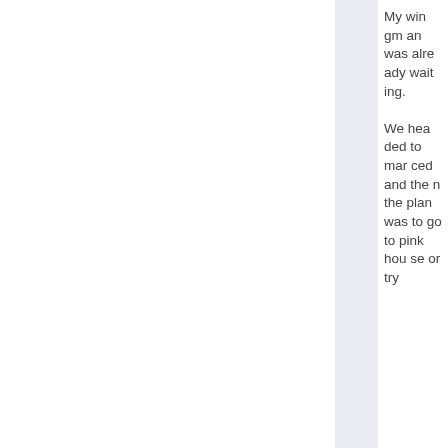My wingman was already waiting.

We headed to manced and then the plan was to go to pinkhouse or try